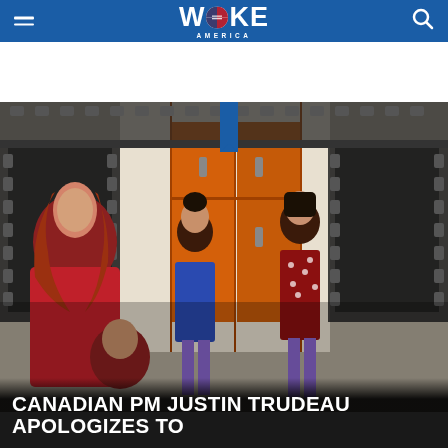WOKE AMERICA
[Figure (photo): A woman with red hair in a red outfit sits and talks with several children in what appears to be a school hallway or classroom setting with orange lockers and film strip decorations on the wall. Two girls stand in the foreground, one in a blue dress and one in a red polka dot dress, both wearing purple tights.]
CANADIAN PM JUSTIN TRUDEAU APOLOGIZES TO